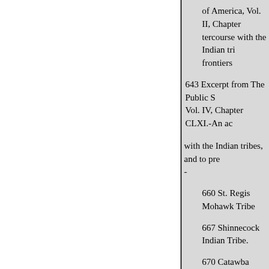of America, Vol. II, Chapter [truncated] tercourse with the Indian tri[bes,] frontiers
643 Excerpt from The Public S[tatutes at Large,] Vol. IV, Chapter CLXI.-An ac[t to regulate trade] with the Indian tribes, and to pre[serve peace on the] -
660 St. Regis Mohawk Tribe
667 Shinnecock Indian Tribe.
670 Catawba Indian Tribe --T[he treaties] of the Creeks, the Choctaws, Che[rokees,] of Great Britain, regarding the
need for royal approval in la[nd grants] of October 7, 1763_-
704 Proclamation by the U.S.[...] lacking U.S. approval would be r[atified] by the South Carolina State Legi[slature]